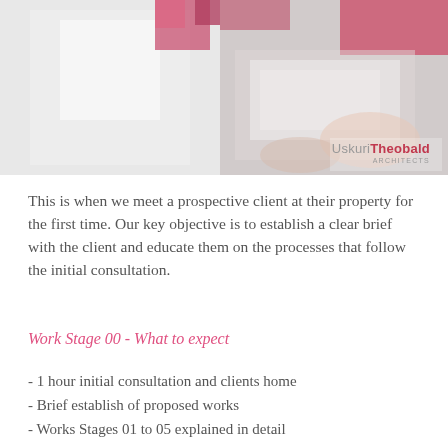[Figure (photo): Header image with two panels: left grey/white architectural sketch, right pink and grey with hands reviewing documents, and UskuriTheobald Architects logo overlay]
This is when we meet a prospective client at their property for the first time. Our key objective is to establish a clear brief with the client and educate them on the processes that follow the initial consultation.
Work Stage 00 - What to expect
- 1 hour initial consultation and clients home
- Brief establish of proposed works
- Works Stages 01 to 05 explained in detail
- Post initial consultation: brief summary